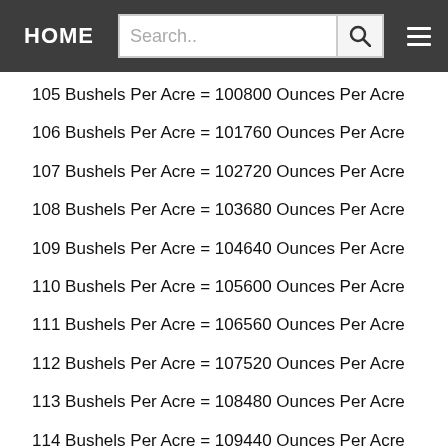HOME | Search..
105 Bushels Per Acre = 100800 Ounces Per Acre
106 Bushels Per Acre = 101760 Ounces Per Acre
107 Bushels Per Acre = 102720 Ounces Per Acre
108 Bushels Per Acre = 103680 Ounces Per Acre
109 Bushels Per Acre = 104640 Ounces Per Acre
110 Bushels Per Acre = 105600 Ounces Per Acre
111 Bushels Per Acre = 106560 Ounces Per Acre
112 Bushels Per Acre = 107520 Ounces Per Acre
113 Bushels Per Acre = 108480 Ounces Per Acre
114 Bushels Per Acre = 109440 Ounces Per Acre
115 Bushels Per Acre = 110400 Ounces Per Acre